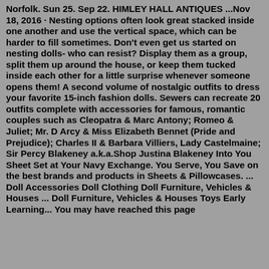Norfolk. Sun 25. Sep 22. HIMLEY HALL ANTIQUES ...Nov 18, 2016 · Nesting options often look great stacked inside one another and use the vertical space, which can be harder to fill sometimes. Don't even get us started on nesting dolls- who can resist? Display them as a group, split them up around the house, or keep them tucked inside each other for a little surprise whenever someone opens them! A second volume of nostalgic outfits to dress your favorite 15-inch fashion dolls. Sewers can recreate 20 outfits complete with accessories for famous, romantic couples such as Cleopatra & Marc Antony; Romeo & Juliet; Mr. D Arcy & Miss Elizabeth Bennet (Pride and Prejudice); Charles II & Barbara Villiers, Lady Castelmaine; Sir Percy Blakeney a.k.a.Shop Justina Blakeney Into You Sheet Set at Your Navy Exchange. You Serve, You Save on the best brands and products in Sheets & Pillowcases. ... Doll Accessories Doll Clothing Doll Furniture, Vehicles & Houses ... Doll Furniture, Vehicles & Houses Toys Early Learning... You may have reached this page